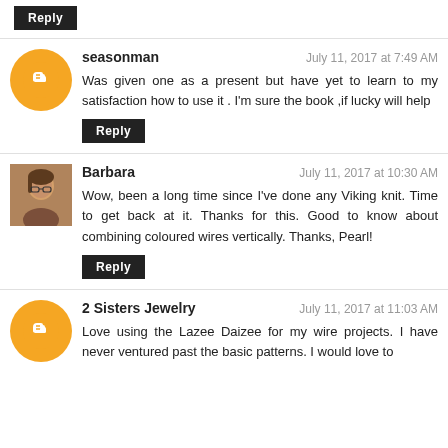Reply
seasonman — July 11, 2017 at 7:49 AM
Was given one as a present but have yet to learn to my satisfaction how to use it . I'm sure the book ,if lucky will help
Reply
Barbara — July 11, 2017 at 10:30 AM
Wow, been a long time since I've done any Viking knit. Time to get back at it. Thanks for this. Good to know about combining coloured wires vertically. Thanks, Pearl!
Reply
2 Sisters Jewelry — July 11, 2017 at 11:03 AM
Love using the Lazee Daizee for my wire projects. I have never ventured past the basic patterns. I would love to